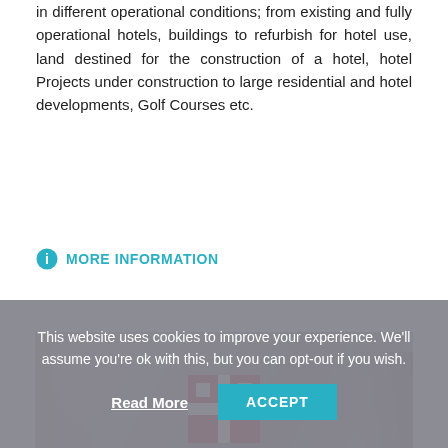in different operational conditions; from existing and fully operational hotels, buildings to refurbish for hotel use, land destined for the construction of a hotel, hotel Projects under construction to large residential and hotel developments, Golf Courses etc.
MORE INFORMATION
[Figure (photo): A blurred interior photo with a Tuscany logo (red geometric icon above the word TUSCANY in red) displayed prominently in the center.]
This website uses cookies to improve your experience. We'll assume you're ok with this, but you can opt-out if you wish.
Read More
ACCEPT